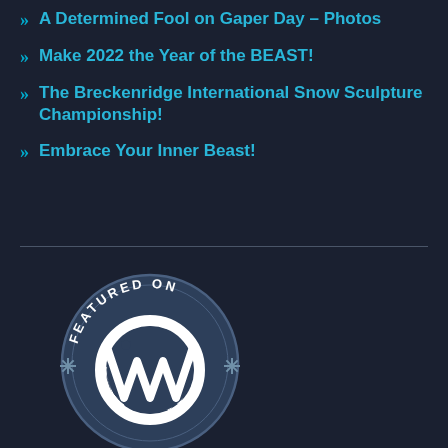A Determined Fool on Gaper Day – Photos
Make 2022 the Year of the BEAST!
The Breckenridge International Snow Sculpture Championship!
Embrace Your Inner Beast!
[Figure (logo): Featured on WordPress circular badge with large W logo in white on dark blue circle background, with 'FEATURED ON' text arched at top and decorative asterisk/star elements on sides]